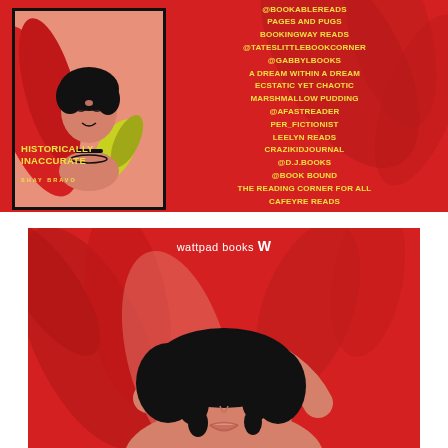[Figure (illustration): Top banner: Red background with illustrated book cover of 'Historically Inaccurate' by Shay Bravo on the left (woman with black hair, tropical leaves), and a yellow list of blogger/reader usernames on the right: @BOOKABLEREADS, PAGES AND PUGS, BOOKINGWAY READS, @TATESLITTLEBOOKCORNER, @GABBYLBOOKS, A DREAM WITHIN A DREAM, ECSTATIC YET CHAOTIC, MARSHMALLOW PUDDING, @AFASTREADER, PER_FICTIONIST, LEELYN READS, CRAZIKIDJOURNAL, @D.J.BOOKS, @BOOK BOUND, THE READING CORNER FOR ALL, CAFEYRE READS]
[Figure (illustration): Bottom section: Red background illustration from Wattpad Books showing a close-up of a young woman with black curly hair, hand raised above her head, tropical leaf shapes in background. 'wattpad books' logo text in white at top.]